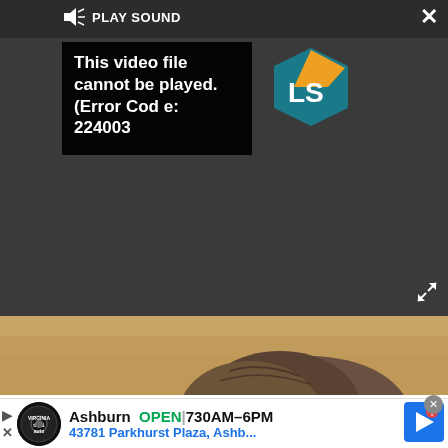[Figure (screenshot): Video player UI showing dark top bar with speaker/PLAY SOUND button and X close button. An error overlay reads 'This video file cannot be played. (Error Code: 224003)'. A yellow/teal LS logo appears to the right of the error. Below is an animal (meerkat/prairie dog) photo in sandy terrain. At the bottom is a Virginia Tire & Auto ad banner for Ashburn location: OPEN 730AM-6PM, 43781 Parkhurst Plaza, Ashb...]